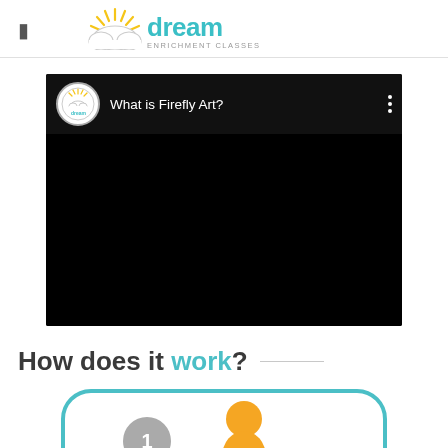[Figure (logo): Dream Enrichment Classes logo with sun rays, cloud, and teal 'dream' wordmark]
[Figure (screenshot): YouTube-style video embed with black background, Dream logo circle, title 'What is Firefly Art?', and three-dot menu]
How does it work?
[Figure (illustration): Partial illustration showing step 1 badge and orange character inside a rounded teal-bordered panel]